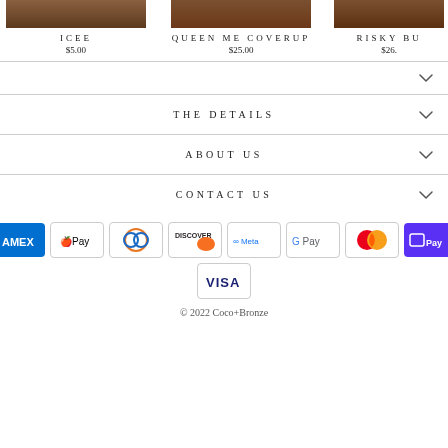ICEE
$5.00
QUEEN ME COVERUP
$25.00
RISKY BU...
$26...
THE DETAILS
ABOUT US
CONTACT US
[Figure (infographic): Payment method icons: American Express, Apple Pay, Diners Club, Discover, Meta Pay, Google Pay, Mastercard, Shop Pay, Visa]
© 2022 Coco+Bronze